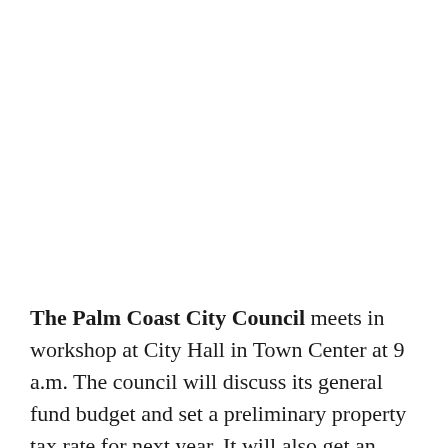The Palm Coast City Council meets in workshop at City Hall in Town Center at 9 a.m. The council will discuss its general fund budget and set a preliminary property tax rate for next year. It will also get an update on council priorities.